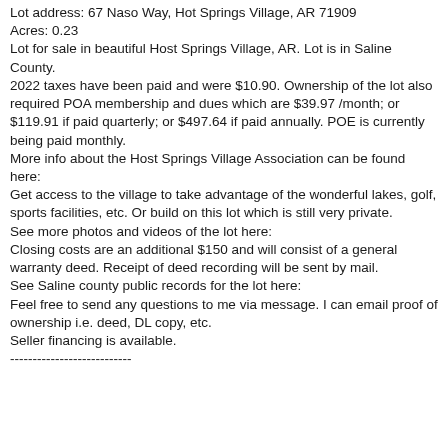Lot address: 67 Naso Way, Hot Springs Village, AR 71909
Acres: 0.23
Lot for sale in beautiful Host Springs Village, AR. Lot is in Saline County.
2022 taxes have been paid and were $10.90. Ownership of the lot also required POA membership and dues which are $39.97 /month; or $119.91 if paid quarterly; or $497.64 if paid annually. POE is currently being paid monthly.
More info about the Host Springs Village Association can be found here:
Get access to the village to take advantage of the wonderful lakes, golf, sports facilities, etc. Or build on this lot which is still very private.
See more photos and videos of the lot here:
Closing costs are an additional $150 and will consist of a general warranty deed. Receipt of deed recording will be sent by mail.
See Saline county public records for the lot here:
Feel free to send any questions to me via message. I can email proof of ownership i.e. deed, DL copy, etc.
Seller financing is available.
---------------------------